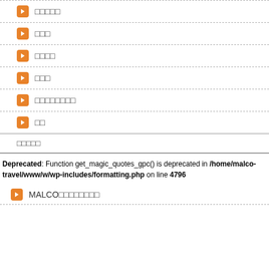□□□□□
□□□
□□□□
□□□
□□□□□□□□
□□
□□□□□
Deprecated: Function get_magic_quotes_gpc() is deprecated in /home/malco-travel/www/w/wp-includes/formatting.php on line 4796
MALCO□□□□□□□□